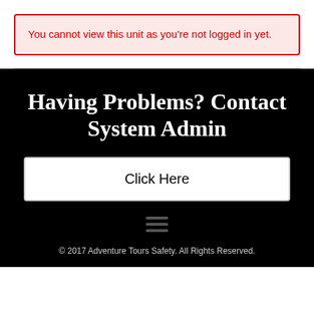You cannot view this unit as you're not logged in yet.
Having Problems? Contact System Admin
Click Here
© 2017 Adventure Tours Safety. All Rights Reserved.